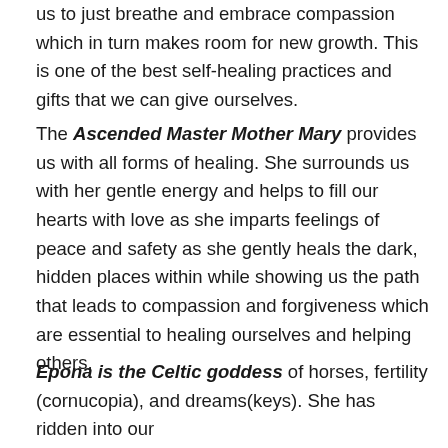us to just breathe and embrace compassion which in turn makes room for new growth. This is one of the best self-healing practices and gifts that we can give ourselves.
The Ascended Master Mother Mary provides us with all forms of healing. She surrounds us with her gentle energy and helps to fill our hearts with love as she imparts feelings of peace and safety as she gently heals the dark, hidden places within while showing us the path that leads to compassion and forgiveness which are essential to healing ourselves and helping others.
Epona is the Celtic goddess of horses, fertility (cornucopia), and dreams(keys). She has ridden into our